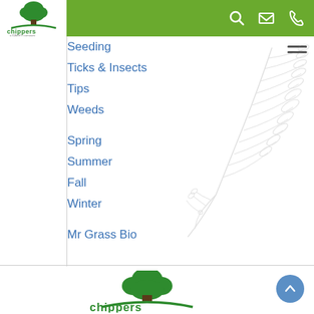[Figure (logo): Chippers lawn care logo with green tree and brand name]
[Figure (infographic): Green navigation bar with search, email, and phone icons]
Seeding
Ticks & Insects
Tips
Weeds
Spring
Summer
Fall
Winter
Mr Grass Bio
[Figure (illustration): Light gray outline illustration of a fern plant with flower]
[Figure (logo): Large Chippers logo with green tree icon in footer area]